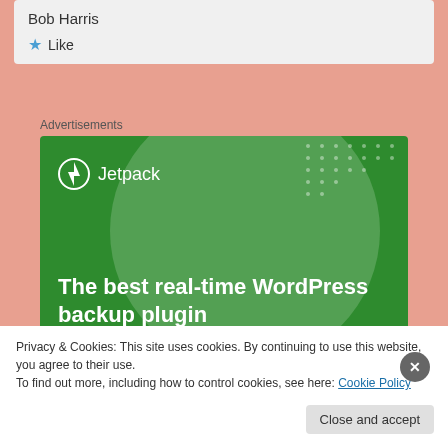Bob Harris
★ Like
Advertisements
[Figure (illustration): Jetpack WordPress plugin advertisement banner. Green background with large translucent circle and dot pattern decoration. Shows Jetpack logo (lightning bolt icon) at top left, headline text 'The best real-time WordPress backup plugin', and a white button reading 'Back up your site'.]
Privacy & Cookies: This site uses cookies. By continuing to use this website, you agree to their use.
To find out more, including how to control cookies, see here: Cookie Policy
Close and accept